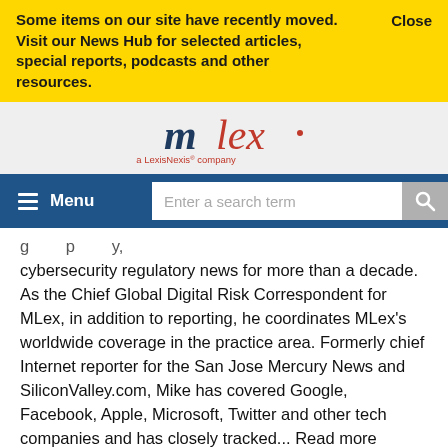Some items on our site have recently moved. Visit our News Hub for selected articles, special reports, podcasts and other resources.
Close
[Figure (logo): MLex - a LexisNexis company logo]
Menu
Enter a search term
cybersecurity regulatory news for more than a decade. As the Chief Global Digital Risk Correspondent for MLex, in addition to reporting, he coordinates MLex's worldwide coverage in the practice area. Formerly chief Internet reporter for the San Jose Mercury News and SiliconValley.com, Mike has covered Google, Facebook, Apple, Microsoft, Twitter and other tech companies and has closely tracked... Read more
View all posts written by Mike Swift